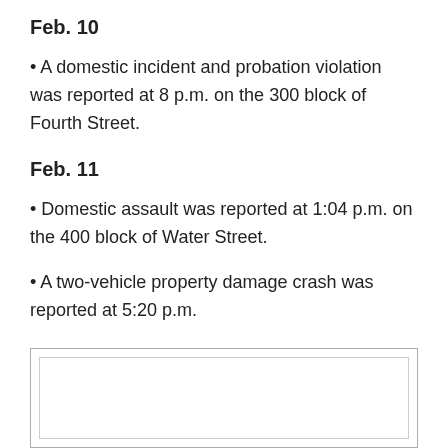Feb. 10
• A domestic incident and probation violation was reported at 8 p.m. on the 300 block of Fourth Street.
Feb. 11
• Domestic assault was reported at 1:04 p.m. on the 400 block of Water Street.
• A two-vehicle property damage crash was reported at 5:20 p.m.
[Figure (other): Advertisement box placeholder]